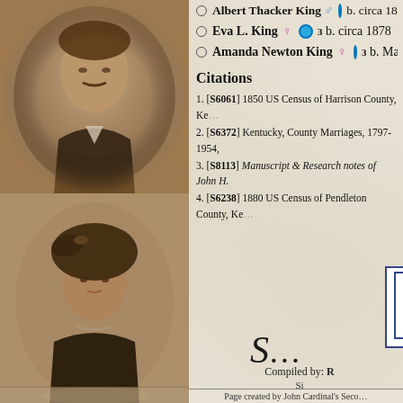Albert Thacker King ♂ b. circa 1874
Eva L. King ♀ 3 b. circa 1878
Amanda Newton King ♀ 3 b. March 13
Citations
1. [S6061] 1850 US Census of Harrison County, Ke...
2. [S6372] Kentucky, County Marriages, 1797-1954,...
3. [S8113] Manuscript & Research notes of John H....
4. [S6238] 1880 US Census of Pendleton County, Ke...
[Figure (logo): Guild of One-Name Studies logo with tree emblem, blue border]
Member #8025 ~ G
S... (script/cursive decorative text)
Compiled by: R...
Si...
Page created by John Cardinal's Seco...